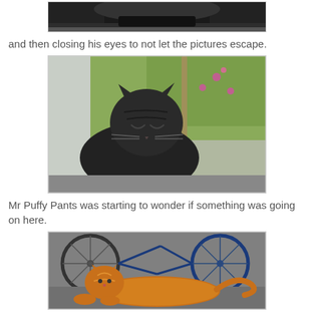[Figure (photo): Partial view of a dark tabby cat, cropped at top of page]
and then closing his eyes to not let the pictures escape.
[Figure (photo): Dark tabby cat with eyes closed, sitting outdoors with green foliage and pink flowers in the background]
Mr Puffy Pants was starting to wonder if something was going on here.
[Figure (photo): Fluffy orange/ginger cat lying on a surface with a bicycle visible in the background]